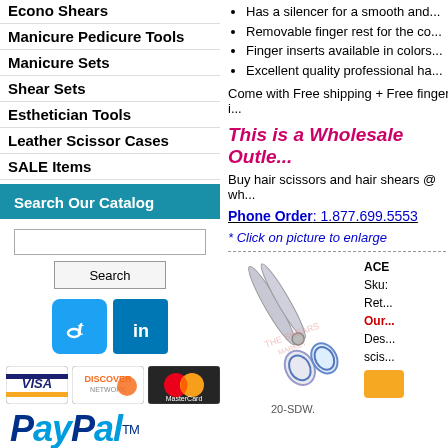Econo Shears
Manicure Pedicure Tools
Manicure Sets
Shear Sets
Esthetician Tools
Leather Scissor Cases
SALE Items
Search Our Catalog
[Figure (screenshot): Search input field and Search button]
[Figure (logo): Twitter and LinkedIn social media icons]
[Figure (logo): VISA, DISCOVER, MasterCard payment logos]
[Figure (logo): PayPal logo]
Has a silencer for a smooth and...
Removable finger rest for the co...
Finger inserts available in colors...
Excellent quality professional ha...
Come with Free shipping + Free finger i...
This is a Wholesale Outle...
Buy hair scissors and hair shears @ wh...
Phone Order: 1.877.699.5553
* Click on picture to enlarge
[Figure (photo): Silver and blue hair scissors product image, labeled 20-SDW]
ACE
Sku:
Ret...
Our...
Des...
scis...